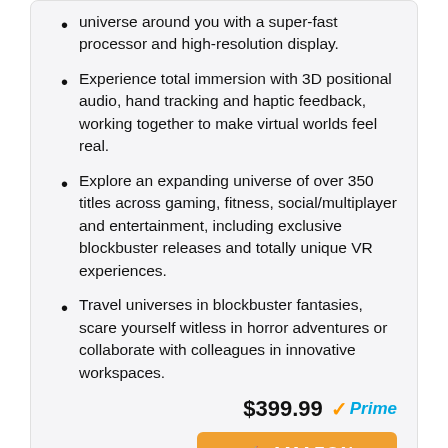universe around you with a super-fast processor and high-resolution display.
Experience total immersion with 3D positional audio, hand tracking and haptic feedback, working together to make virtual worlds feel real.
Explore an expanding universe of over 350 titles across gaming, fitness, social/multiplayer and entertainment, including exclusive blockbuster releases and totally unique VR experiences.
Travel universes in blockbuster fantasies, scare yourself witless in horror adventures or collaborate with colleagues in innovative workspaces.
$399.99 Prime
AMAZON
Christmas Oprah's Favorite Things